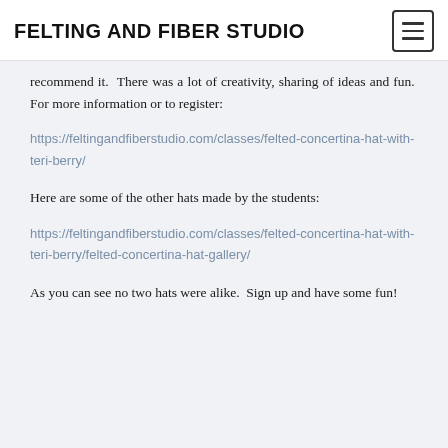FELTING AND FIBER STUDIO
recommend it.  There was a lot of creativity, sharing of ideas and fun.  For more information or to register:
https://feltingandfiberstudio.com/classes/felted-concertina-hat-with-teri-berry/
Here are some of the other hats made by the students:
https://feltingandfiberstudio.com/classes/felted-concertina-hat-with-teri-berry/felted-concertina-hat-gallery/
As you can see no two hats were alike.  Sign up and have some fun!